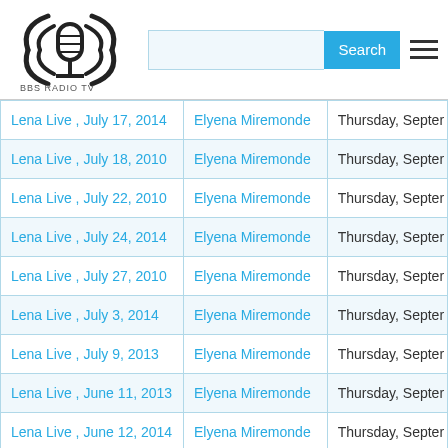BBS Radio TV — Search
| Title | Author | Date |
| --- | --- | --- |
| Lena Live , July 17, 2014 | Elyena Miremonde | Thursday, Septer |
| Lena Live , July 18, 2010 | Elyena Miremonde | Thursday, Septer |
| Lena Live , July 22, 2010 | Elyena Miremonde | Thursday, Septer |
| Lena Live , July 24, 2014 | Elyena Miremonde | Thursday, Septer |
| Lena Live , July 27, 2010 | Elyena Miremonde | Thursday, Septer |
| Lena Live , July 3, 2014 | Elyena Miremonde | Thursday, Septer |
| Lena Live , July 9, 2013 | Elyena Miremonde | Thursday, Septer |
| Lena Live , June 11, 2013 | Elyena Miremonde | Thursday, Septer |
| Lena Live , June 12, 2014 | Elyena Miremonde | Thursday, Septer |
| Lena Live , June 25, 2013 | Elyena Miremonde | Thursday, Septer |